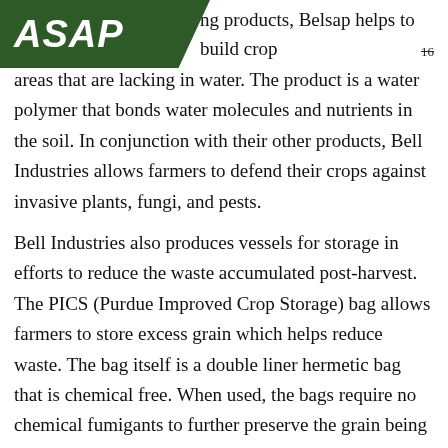ASAP
areas that are lacking in water. The product is a water polymer that bonds water molecules and nutrients in the soil. In conjunction with their other products, Bell Industries allows farmers to defend their crops against invasive plants, fungi, and pests.
Bell Industries also produces vessels for storage in efforts to reduce the waste accumulated post-harvest. The PICS (Purdue Improved Crop Storage) bag allows farmers to store excess grain which helps reduce waste. The bag itself is a double liner hermetic bag that is chemical free. When used, the bags require no chemical fumigants to further preserve the grain being stored. PICS bags protect against insect infestation and keep grain fresh with airtight storage.